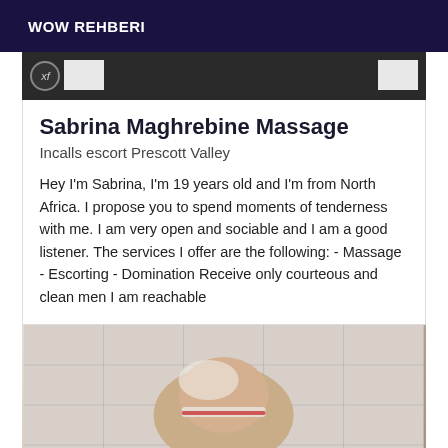WOW REHBERI
[Figure (photo): Dark banner image strip with xf badge on left, two white rectangles on sides]
Sabrina Maghrebine Massage
Incalls escort Prescott Valley
Hey I'm Sabrina, I'm 19 years old and I'm from North Africa. I propose you to spend moments of tenderness with me. I am very open and sociable and I am a good listener. The services I offer are the following: - Massage - Escorting - Domination Receive only courteous and clean men I am reachable
[Figure (photo): Close-up photo of a hand or thumb with a ring/band on a tiled surface]